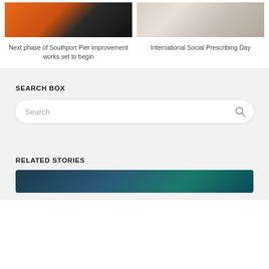[Figure (photo): Two people in orange high-visibility jackets]
Next phase of Southport Pier improvement works set to begin
[Figure (photo): Person in white shirt seated at a table]
International Social Prescribing Day
SEARCH BOX
Search
RELATED STORIES
[Figure (photo): Partial image of a vehicle or related story image at bottom]